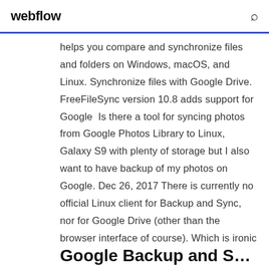webflow
helps you compare and synchronize files and folders on Windows, macOS, and Linux. Synchronize files with Google Drive. FreeFileSync version 10.8 adds support for Google  Is there a tool for syncing photos from Google Photos Library to Linux, Galaxy S9 with plenty of storage but I also want to have backup of my photos on Google. Dec 26, 2017 There is currently no official Linux client for Backup and Sync, nor for Google Drive (other than the browser interface of course). Which is ironic
Google Backup and S...